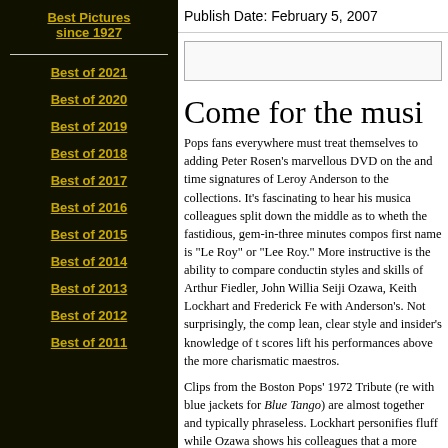Best Pictures since 1927
Publish Date: February 5, 2007
Best of 2021
Best of 2020
Best of 2019
Best of 2018
Best of 2017
Best of 2016
Best of 2015
Best of 2014
Best of 2013
Best of 2012
Best of 2011
Come for the musi
Pops fans everywhere must treat themselves to adding Peter Rosen’s marvellous DVD on the and time signatures of Leroy Anderson to the collections. It’s fascinating to hear his musica colleagues split down the middle as to wheth the fastidious, gem-in-three minutes compos first name is “Le Roy” or “Lee Roy.” More instructive is the ability to compare conductin styles and skills of Arthur Fiedler, John Willia Seiji Ozawa, Keith Lockhart and Frederick Fe with Anderson’s. Not surprisingly, the comp lean, clear style and insider’s knowledge of t scores lift his performances above the more charismatic maestros.
Clips from the Boston Pops’ 1972 Tribute (re with blue jackets for Blue Tango) are almost together and typically phraseless. Lockhart personifies fluff while Ozawa shows his colleagues that a more relaxed tempo yields smoother result. The onstage Fiedler/Ander